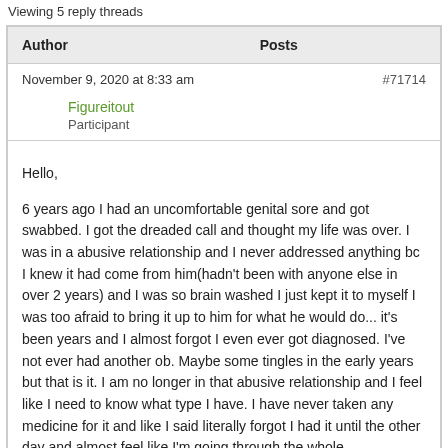Viewing 5 reply threads
| Author | Posts |
| --- | --- |
| November 9, 2020 at 8:33 am | #71714 |
| Figureitout
Participant |  |
| Hello,

6 years ago I had an uncomfortable genital sore and got swabbed. I got the dreaded call and thought my life was over. I was in a abusive relationship and I never addressed anything bc I knew it had come from him(hadn't been with anyone else in over 2 years) and I was so brain washed I just kept it to myself I was too afraid to bring it up to him for what he would do... it's been years and I almost forgot I even ever got diagnosed. I've not ever had another ob. Maybe some tingles in the early years but that is it. I am no longer in that abusive relationship and I feel like I need to know what type I have. I have never taken any medicine for it and like I said literally forgot I had it until the other day and almost feel like I'm going through the whole |  |